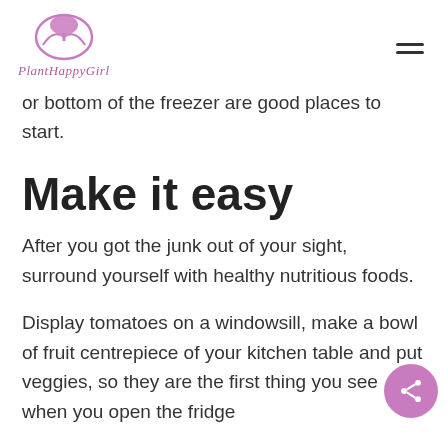PlantHappyGirl logo and navigation
or bottom of the freezer are good places to start.
Make it easy
After you got the junk out of your sight, surround yourself with healthy nutritious foods.
Display tomatoes on a windowsill, make a bowl of fruit centrepiece of your kitchen table and put veggies, so they are the first thing you see when you open the fridge